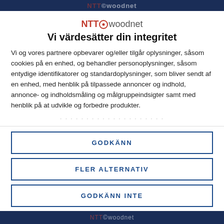NTT©woodnet
[Figure (logo): NTT©woodnet logo with red NTT text and circle-target symbol, followed by grey woodnet text]
Vi värdesätter din integritet
Vi og vores partnere opbevarer og/eller tilgår oplysninger, såsom cookies på en enhed, og behandler personoplysninger, såsom entydige identifikatorer og standardoplysninger, som bliver sendt af en enhed, med henblik på tilpassede annoncer og indhold, annonce- og indholdsmåling og målgruppeindsigter samt med henblik på at udvikle og forbedre produkter.
· · · · · · · · · · · · · · · · · · · ·
GODKÄNN
FLER ALTERNATIV
GODKÄNN INTE
NTT©woodnet